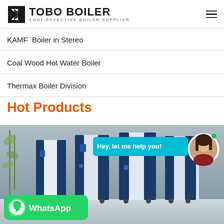TOBO BOILER — COST-EFFECTIVE BOILER SUPPLIER
KAMF Boiler in Stereo
Coal Wood Hot Water Boiler
Thermax Boiler Division
Hot Products
[Figure (photo): Industrial boiler units in blue and white, displayed in a showroom with bamboo plants in the background. Overlaid with a cyan chat bubble saying 'Hey, let me help you!' with a female avatar, and a WhatsApp contact badge in green at the bottom left.]